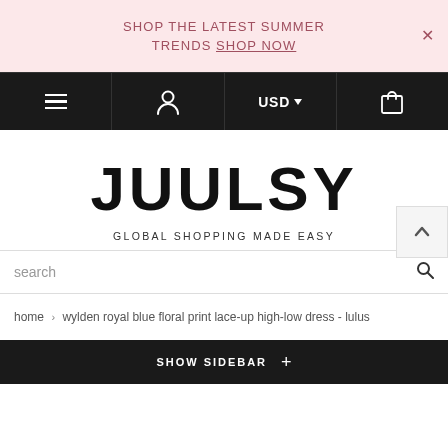SHOP THE LATEST SUMMER TRENDS SHOP NOW ×
[Figure (screenshot): Black navigation bar with hamburger menu, user icon, USD currency selector with dropdown arrow, and shopping bag icon]
JUULSY
GLOBAL SHOPPING MADE EASY
search
home › wylden royal blue floral print lace-up high-low dress - lulus
SHOW SIDEBAR +